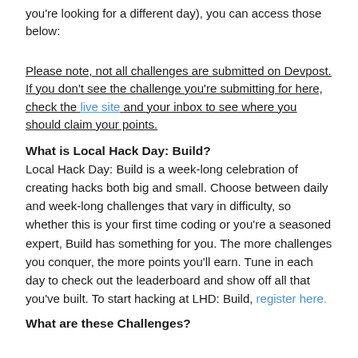you're looking for a different day), you can access those below:
Please note, not all challenges are submitted on Devpost. If you don't see the challenge you're submitting for here, check the live site and your inbox to see where you should claim your points.
What is Local Hack Day: Build?
Local Hack Day: Build is a week-long celebration of creating hacks both big and small. Choose between daily and week-long challenges that vary in difficulty, so whether this is your first time coding or you're a seasoned expert, Build has something for you. The more challenges you conquer, the more points you'll earn. Tune in each day to check out the leaderboard and show off all that you've built. To start hacking at LHD: Build, register here.
What are these Challenges?